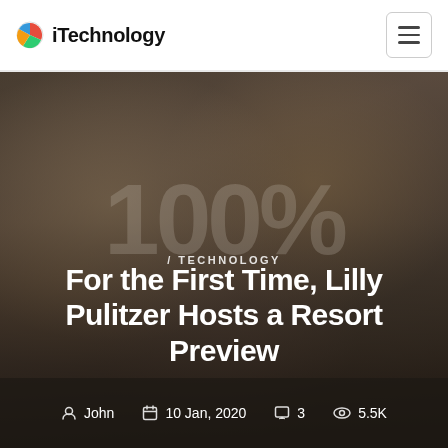iTechnology
[Figure (photo): Group of young professionals sitting around a table with laptops, smiling and collaborating in a modern office. Darkened overlay with '100%' watermark text.]
/ TECHNOLOGY
For the First Time, Lilly Pulitzer Hosts a Resort Preview
John  10 Jan, 2020  3  5.5K